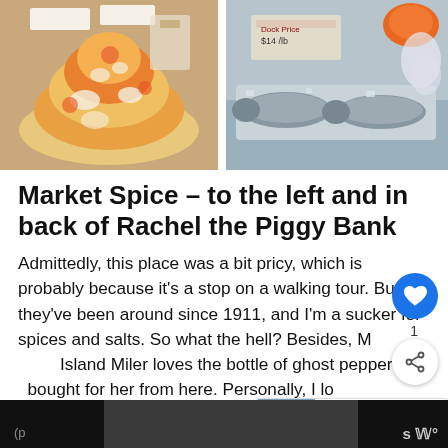[Figure (photo): Two side-by-side market photos: left shows a large pile of colorful spices/dried food items at a market stall; right shows fish/seafood displayed on ice at a market counter.]
Market Spice – to the left and in back of Rachel the Piggy Bank
Admittedly, this place was a bit pricy, which is probably because it's a stop on a walking tour. But they've been around since 1911, and I'm a sucker for spices and salts. So what the hell? Besides, My Island Miler loves the bottle of ghost pepper salt I bought for her from here. Personally, I love the Alderwood smoked salt. That said, I wish they had more exotic stuff like fennel or dill pollen, zataar
(p...                    s  W°